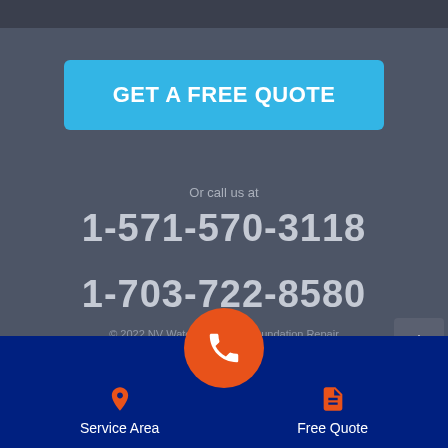GET A FREE QUOTE
Or call us at
1-571-570-3118
1-703-722-8580
© 2022 NV Waterproofing & Foundation Repair
12200 Livingston Rd
Manassas, 20109
Service Area
Free Quote